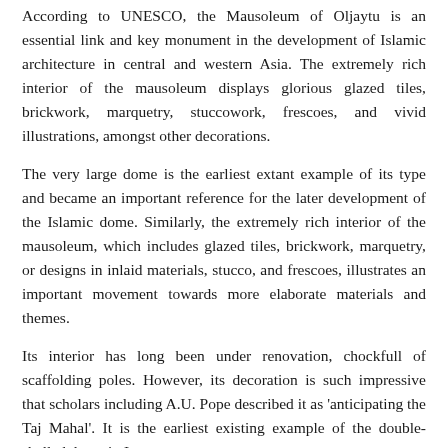According to UNESCO, the Mausoleum of Oljaytu is an essential link and key monument in the development of Islamic architecture in central and western Asia. The extremely rich interior of the mausoleum displays glorious glazed tiles, brickwork, marquetry, stuccowork, frescoes, and vivid illustrations, amongst other decorations.
The very large dome is the earliest extant example of its type and became an important reference for the later development of the Islamic dome. Similarly, the extremely rich interior of the mausoleum, which includes glazed tiles, brickwork, marquetry, or designs in inlaid materials, stucco, and frescoes, illustrates an important movement towards more elaborate materials and themes.
Its interior has long been under renovation, chockfull of scaffolding poles. However, its decoration is such impressive that scholars including A.U. Pope described it as 'anticipating the Taj Mahal'. It is the earliest existing example of the double-shelled dome in Iran.
According to UNESCO, the Mausoleum of Oljaytu is an